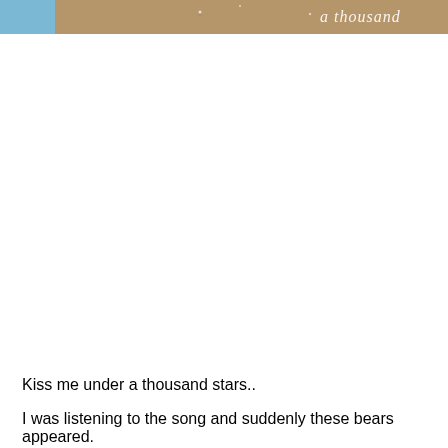[Figure (photo): A photo strip at the top of the page showing a sandy/brown surface with blue sky on the left edge and cursive white text reading 'a thousand stars' (partially visible) on the right side.]
Kiss me under a thousand stars..
I was listening to the song and suddenly these bears appeared.
I'm not sure where they are coming from, I'm not overly fond of bears... at least I don't think I am.